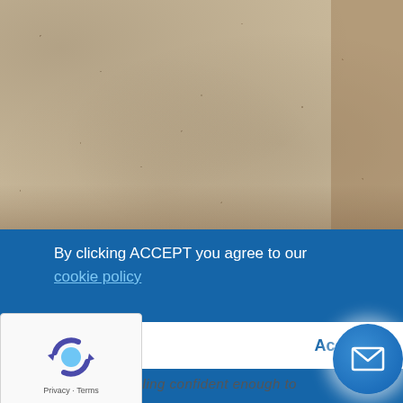[Figure (photo): Blurred parchment/sand-colored textured background photo taking up upper portion of the page]
By clicking ACCEPT you agree to our cookie policy
Accept
[Figure (logo): reCAPTCHA badge with spinning arrows logo and 'Privacy - Terms' text]
[Figure (illustration): Circular blue mail/envelope icon button]
to feeling confident enough to